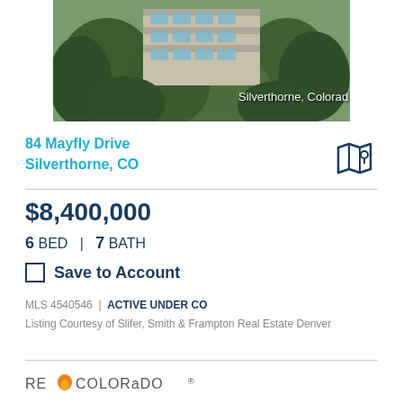[Figure (photo): Exterior photo of a modern multi-story home surrounded by trees in Silverthorne, Colorado. Text overlay reads 'Silverthorne, Colorad']
84 Mayfly Drive
Silverthorne, CO
$8,400,000
6 BED  |  7 BATH
Save to Account
MLS 4540546  |  ACTIVE UNDER CO
Listing Courtesy of Slifer, Smith & Frampton Real Estate Denver
[Figure (logo): RE/Colorado logo with orange flame icon]